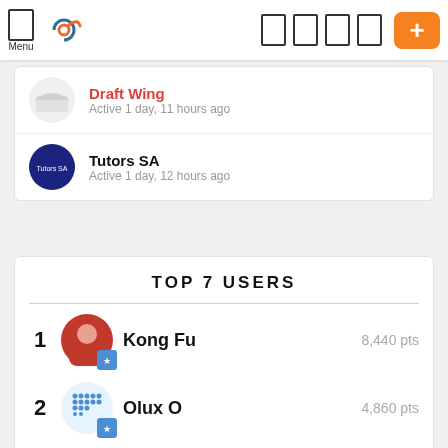Menu | Logo | Navigation icons | + button
Draft Wing — Active 1 day, 11 hours ago
Tutors SA — Active 1 day, 12 hours ago
TOP 7 USERS
1  Kong Fu  8,440 pts
2  Olux O  4,860 pts
3  Amelia Grant  3,755 pts
4  (partially visible)